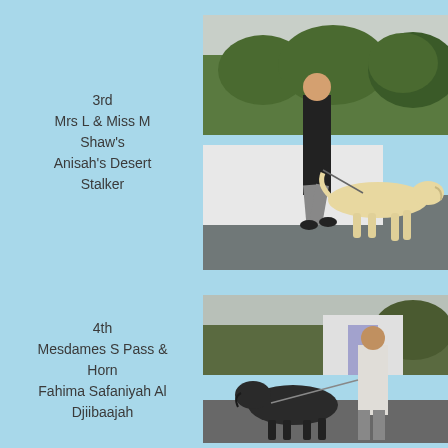3rd
Mrs L & Miss M Shaw's
Anisah's Desert Stalker
[Figure (photo): A girl walking a large cream/white Saluki dog at a show on a paved area outdoors, trees in background]
4th
Mesdames S Pass & Horn
Fahima Safaniyah Al Djiibaajah
[Figure (photo): A dark-coloured dog being shown by a handler at an outdoor show, white tent/gazebo in background]